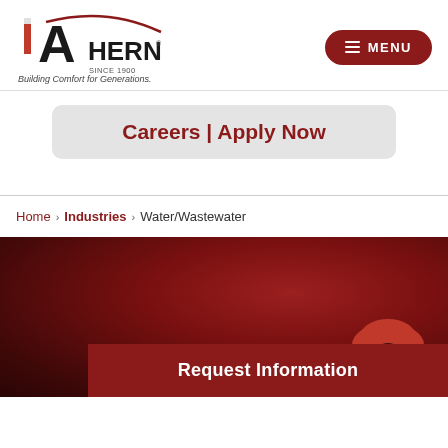[Figure (logo): Ahern company logo with red hard hat letter A, swoosh, and text 'AHERN SINCE 1900']
Building Comfort for Generations.
MENU
Careers | Apply Now
Home › Industries › Water/Wastewater
[Figure (photo): Dark red/maroon hero image with a worker in a red hard hat visible at the bottom right]
Request Information